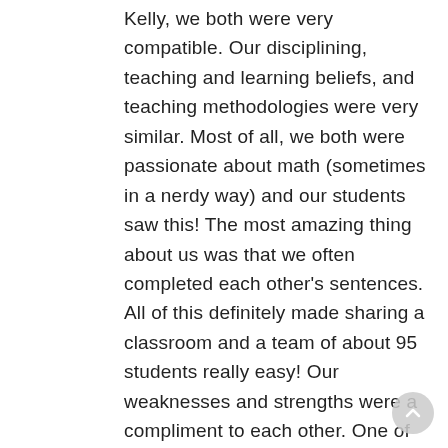Kelly, we both were very compatible. Our disciplining, teaching and learning beliefs, and teaching methodologies were very similar. Most of all, we both were passionate about math (sometimes in a nerdy way) and our students saw this! The most amazing thing about us was that we often completed each other's sentences. All of this definitely made sharing a classroom and a team of about 95 students really easy! Our weaknesses and strengths were a compliment to each other. One of the nicest things...